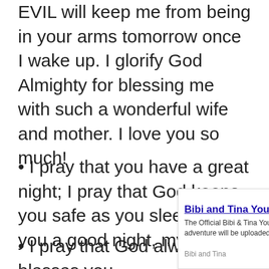EVIL will keep me from being in your arms tomorrow once I wake up. I glorify God Almighty for blessing me with such a wonderful wife and mother. I love you so much!
• I pray that you have a great night; I pray that God keeps you safe as you sleep. I wish you a good night, my love.
• I pray that God always blesses you,
[Figure (screenshot): Advertisement banner for Bibi and Tina YouTube Channel with Subscribe button]